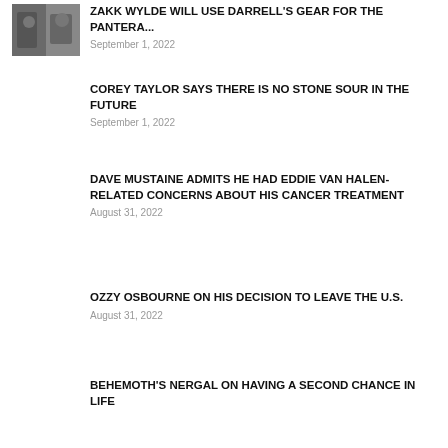[Figure (photo): Thumbnail photo of musicians]
ZAKK WYLDE WILL USE DARRELL'S GEAR FOR THE PANTERA...
September 1, 2022
COREY TAYLOR SAYS THERE IS NO STONE SOUR IN THE FUTURE
September 1, 2022
DAVE MUSTAINE ADMITS HE HAD EDDIE VAN HALEN-RELATED CONCERNS ABOUT HIS CANCER TREATMENT
August 31, 2022
OZZY OSBOURNE ON HIS DECISION TO LEAVE THE U.S.
August 31, 2022
BEHEMOTH'S NERGAL ON HAVING A SECOND CHANCE IN LIFE